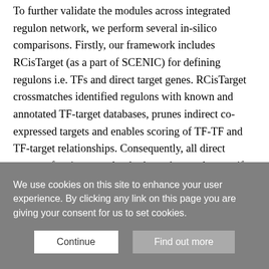To further validate the modules across integrated regulon network, we perform several in-silico comparisons. Firstly, our framework includes RCisTarget (as a part of SCENIC) for defining regulons i.e. TFs and direct target genes. RCisTarget crossmatches identified regulons with known and annotated TF-target databases, prunes indirect co-expressed targets and enables scoring of TF-TF and TF-target relationships. Consequently, all direct targets of a given regulon harbour the regulon motif at respective promoters. Additionally, we expect and observe many regulons within individual modules to share overlapping motifs (Motif correlation in Fig. S17A). We also report a few representative examples of regulons and their motifs within individual modules (Fig. S17A). We next assessed whether
We use cookies on this site to enhance your user experience. By clicking any link on this page you are giving your consent for us to set cookies.